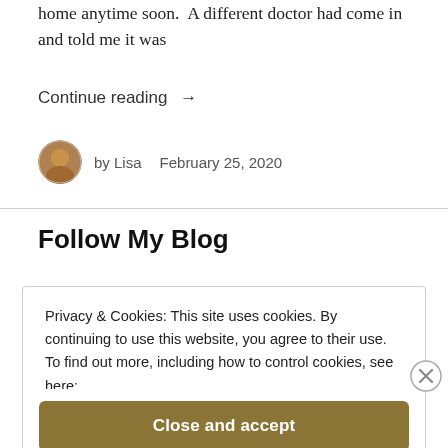home anytime soon. A different doctor had come in and told me it was
Continue reading →
by Lisa   February 25, 2020
Follow My Blog
Privacy & Cookies: This site uses cookies. By continuing to use this website, you agree to their use.
To find out more, including how to control cookies, see here:
Cookie Policy
Close and accept